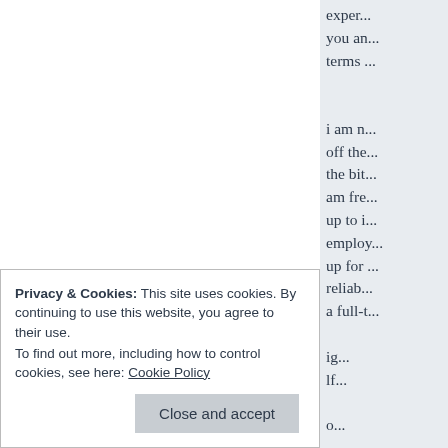exper... you an... terms ...
i am n... off the... the bit... am fre... up to i... employ... up for... reliab... a full-t... ig... lf... o... In... c... ir...
Privacy & Cookies: This site uses cookies. By continuing to use this website, you agree to their use.
To find out more, including how to control cookies, see here: Cookie Policy